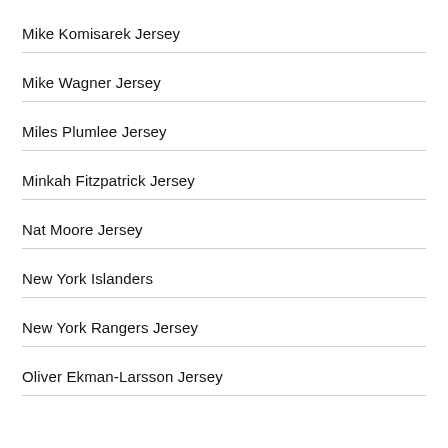Mike Komisarek Jersey
Mike Wagner Jersey
Miles Plumlee Jersey
Minkah Fitzpatrick Jersey
Nat Moore Jersey
New York Islanders
New York Rangers Jersey
Oliver Ekman-Larsson Jersey